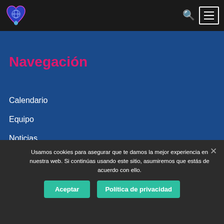Header navigation bar with logo, search icon, and menu icon
[Figure (logo): Blue and purple heart-shaped logo with a globe/earth element]
Navegación
Calendario
Equipo
Noticias
Nosotros
Galería
Usamos cookies para asegurar que te damos la mejor experiencia en nuestra web. Si continúas usando este sitio, asumiremos que estás de acuerdo con ello.
Aceptar | Política de privacidad